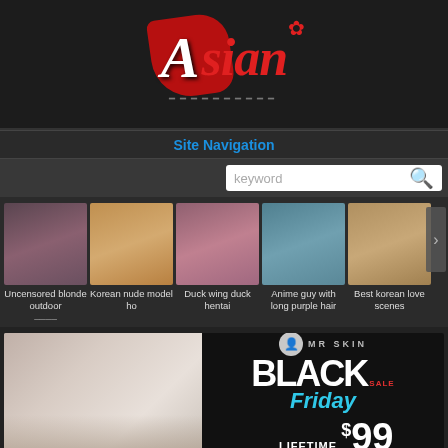[Figure (logo): Asian website logo with red stylized text and flower icon]
Site Navigation
[Figure (screenshot): Search bar with keyword placeholder and blue search icon]
[Figure (photo): Row of 5 video thumbnails with captions: Uncensored blonde outdoor, Korean nude model ho, Duck wing duck hentai, Anime guy with long purple hair, Best korean love scenes]
[Figure (photo): Mr Skin Black Friday Sale advertisement banner - Lifetime Membership $99]
Otogagged young club asian